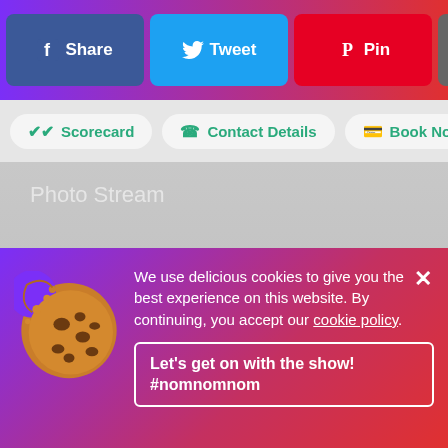[Figure (screenshot): Mobile app toolbar with Facebook Share, Twitter Tweet, Pinterest Pin, more options dots, title truncated 'The Sa...', and hamburger menu icon on gradient purple-to-red background]
[Figure (screenshot): Navigation pills row with Scorecard, Contact Details, and Book Now buttons on light grey background]
Photo Stream
Quotes
One World
[Figure (screenshot): Cookie consent banner with cookie emoji image, text about using delicious cookies, cookie policy link, close X button, and 'Let's get on with the show! #nomnomnom' button on purple-to-red gradient background]